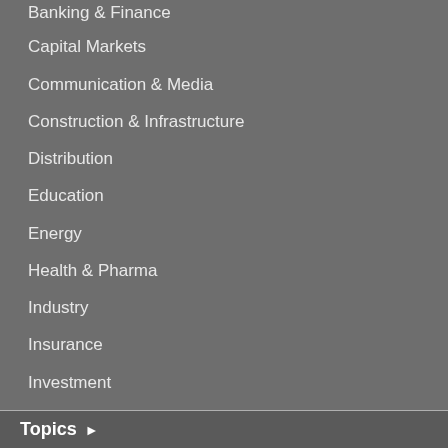Banking & Finance
Capital Markets
Communication & Media
Construction & Infrastructure
Distribution
Education
Energy
Health & Pharma
Industry
Insurance
Investment
IT
Logistics
Oil & Gas
Real Estate
Services
Telecom
Tourism
Transportation
Water & Sanitation
Topics ▶